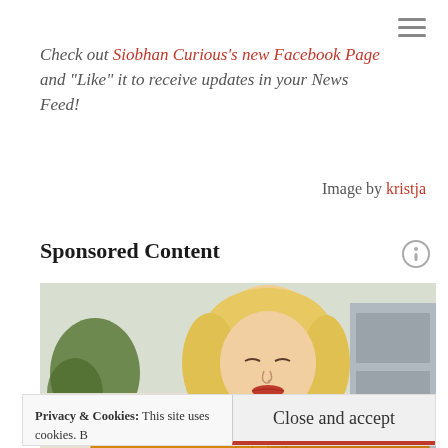Check out Siobhan Curious's new Facebook Page and “Like” it to receive updates in your News Feed!
Image by kristja
Sponsored Content
[Figure (photo): Blonde woman in yellow sweater looking down, with plants in background]
Privacy & Cookies: This site uses cookies. By continuing to use this website, you agree to their use. To find out more, including how to control cookies, see here: Cookie Policy
Close and accept